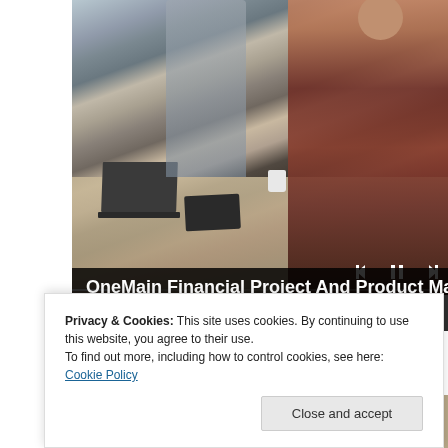[Figure (photo): Office scene with people working at desks with laptops, one person wearing a plaid shirt sitting in a gaming chair with headphones]
OneMain Financial Project And Product Manager Jobs in Ashburn Apply Now
Sponsored by jobble.com
[Figure (photo): Partial view of people faces at the bottom of the page]
Privacy & Cookies: This site uses cookies. By continuing to use this website, you agree to their use.
To find out more, including how to control cookies, see here: Cookie Policy
Close and accept